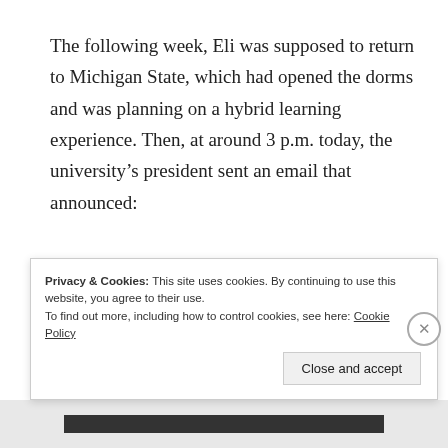The following week, Eli was supposed to return to Michigan State, which had opened the dorms and was planning on a hybrid learning experience. Then, at around 3 p.m. today, the university's president sent an email that announced:
It has become evident to me that, despite our best efforts and strong planning, it is unlikely we can prevent
Privacy & Cookies: This site uses cookies. By continuing to use this website, you agree to their use.
To find out more, including how to control cookies, see here: Cookie Policy

Close and accept